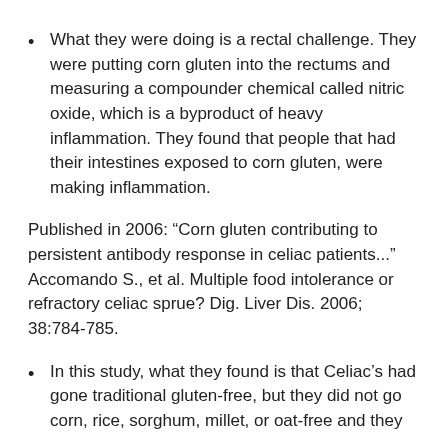What they were doing is a rectal challenge. They were putting corn gluten into the rectums and measuring a compounder chemical called nitric oxide, which is a byproduct of heavy inflammation. They found that people that had their intestines exposed to corn gluten, were making inflammation.
Published in 2006: “Corn gluten contributing to persistent antibody response in celiac patients...” Accomando S., et al. Multiple food intolerance or refractory celiac sprue? Dig. Liver Dis. 2006; 38:784-785.
In this study, what they found is that Celiac’s had gone traditional gluten-free, but they did not go corn, rice, sorghum, millet, or oat-free and they